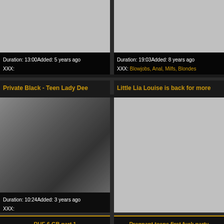[Figure (photo): Gray placeholder thumbnail top left]
Duration: 13:00Added: 5 years ago XXX:
[Figure (photo): Gray placeholder thumbnail top right]
Duration: 19:03Added: 8 years ago XXX: Blowjobs, Anal, Milfs, Blondes
Private Black - Teen Lady Dee
Little Lia Louise is back for more
[Figure (photo): Video thumbnail showing explicit content]
Duration: 10:24Added: 3 years ago XXX:
[Figure (photo): Gray placeholder thumbnail right middle]
Duration: 12:41Added: 6 years ago XXX:
RUF-6 GB part 1
Pregnant teens first fuck party